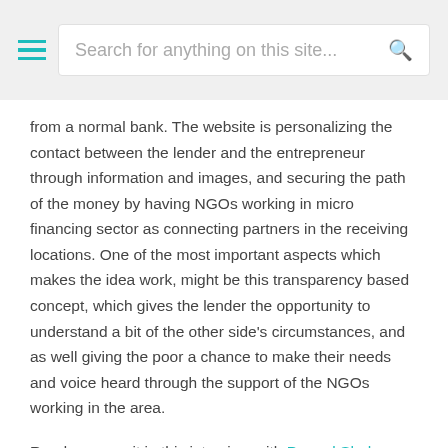Search for anything on this site...
from a normal bank. The website is personalizing the contact between the lender and the entrepreneur through information and images, and securing the path of the money by having NGOs working in micro financing sector as connecting partners in the receiving locations. One of the most important aspects which makes the idea work, might be this transparency based concept, which gives the lender the opportunity to understand a bit of the other side's circumstances, and as well giving the poor a chance to make their needs and voice heard through the support of the NGOs working in the area.
Read more on it in this interview with Premal Shah on venturevoice or in this one with Jessica Flannery, another founding member, on worldchanging about kiva.org, the peer-to-peer mirco finance website: